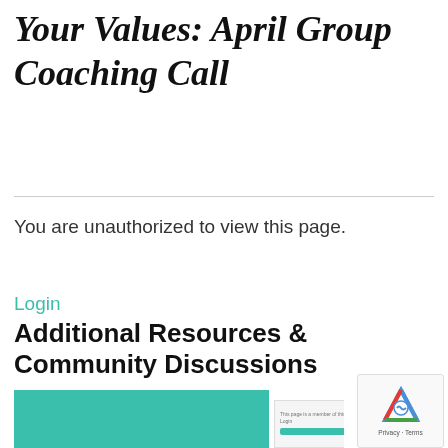Your Values: April Group Coaching Call
You are unauthorized to view this page.
Login
Additional Resources & Community Discussions
[Figure (screenshot): Screenshot of a webpage with a teal/green colored block on the left and a login/form interface on the right, partially visible.]
[Figure (other): reCAPTCHA widget showing the recaptcha logo and Privacy - Terms text]